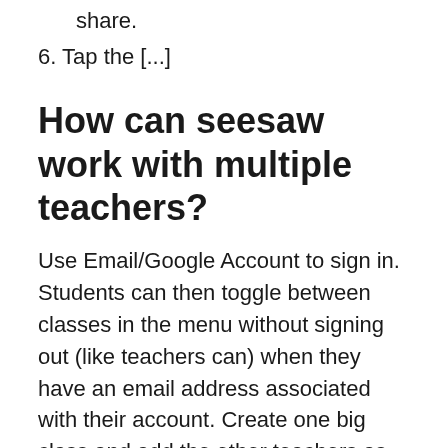share.
6. Tap the [...]
How can seesaw work with multiple teachers?
Use Email/Google Account to sign in. Students can then toggle between classes in the menu without signing out (like teachers can) when they have an email address associated with their account. Create one big class and add the other teachers as co-teachers to the class.
Can you collaborate on seesaw?